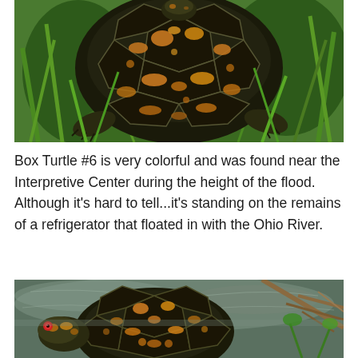[Figure (photo): Close-up photo of a colorful box turtle with dark shell featuring orange/yellow markings, surrounded by green grass, viewed from above/front]
Box Turtle #6 is very colorful and was found near the Interpretive Center during the height of the flood.  Although it's hard to tell...it's standing on the remains of a refrigerator that floated in with the Ohio River.
[Figure (photo): Photo of a box turtle in shallow water with branches visible, showing the turtle's head with red eye and colorful shell with orange/yellow spots]